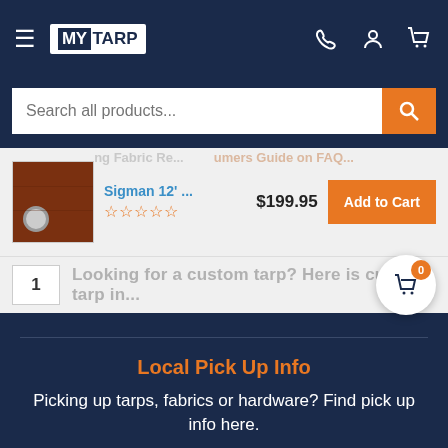MY TARP
Search all products...
Sigman 12' ... $199.95 — Add to Cart, 0 stars
1
Looking for a custom tarp? Here is custom tarp in...
Local Pick Up Info
Picking up tarps, fabrics or hardware? Find pick up info here.
Navigation
Support